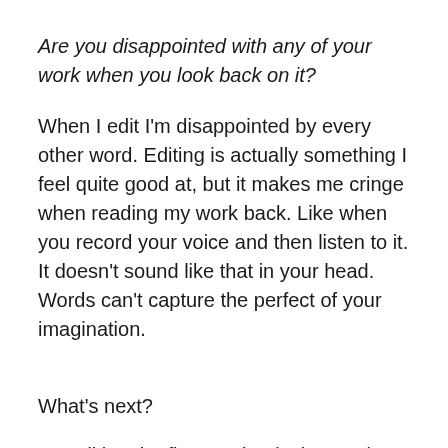Are you disappointed with any of your work when you look back on it?
When I edit I'm disappointed by every other word. Editing is actually something I feel quite good at, but it makes me cringe when reading my work back. Like when you record your voice and then listen to it. It doesn't sound like that in your head. Words can't capture the perfect of your imagination.
What's next?
I'm editing the first two books in a series of erotic novels for a friend (just a slight change of direction there!). At the